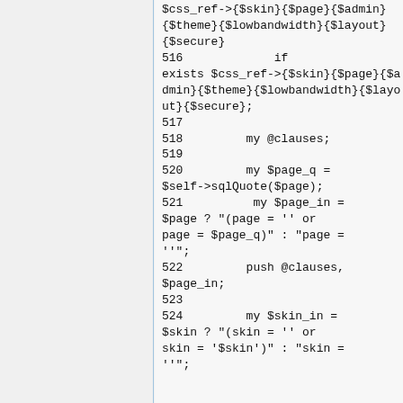$css_ref->{$skin}{$page}{$admin}{$theme}{$lowbandwidth}{$layout}{$secure}
516             if exists $css_ref->{$skin}{$page}{$admin}{$theme}{$lowbandwidth}{$layout}{$secure};
517
518         my @clauses;
519
520         my $page_q = $self->sqlQuote($page);
521          my $page_in = $page ? "(page = '' or page = $page_q)" : "page = ''";
522         push @clauses, $page_in;
523
524         my $skin_in = $skin ? "(skin = '' or skin = '$skin')" : "skin = ''";